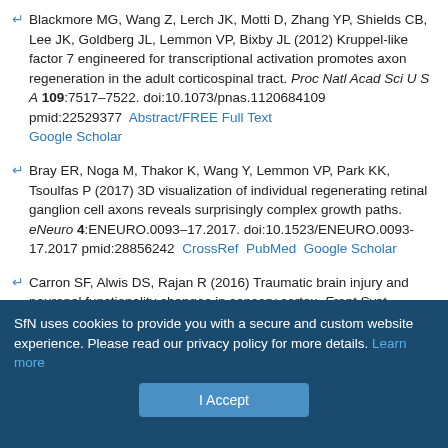Blackmore MG, Wang Z, Lerch JK, Motti D, Zhang YP, Shields CB, Lee JK, Goldberg JL, Lemmon VP, Bixby JL (2012) Kruppel-like factor 7 engineered for transcriptional activation promotes axon regeneration in the adult corticospinal tract. Proc Natl Acad Sci U S A 109:7517–7522. doi:10.1073/pnas.1120684109 pmid:22529377  Abstract/FREE Full Text  Google Scholar
Bray ER, Noga M, Thakor K, Wang Y, Lemmon VP, Park KK, Tsoulfas P (2017) 3D visualization of individual regenerating retinal ganglion cell axons reveals surprisingly complex growth paths. eNeuro 4:ENEURO.0093–17.2017. doi:10.1523/ENEURO.0093-17.2017 pmid:28856242  CrossRef  PubMed  Google Scholar
Carron SF, Alwis DS, Rajan R (2016) Traumatic brain injury and neuronal functionality changes in sensory cortex. Front Syst Neurosci 10:47. doi:10.3389/fnsys.2016.00047 pmid:27313514  CrossRef  PubMed  Google Scholar
SfN uses cookies to provide you with a secure and custom website experience. Please read our privacy policy for more details. Learn more